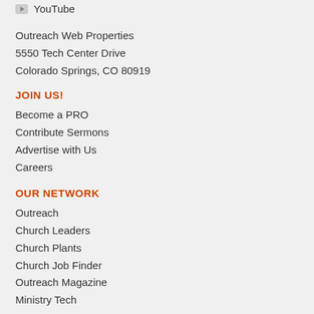YouTube
Outreach Web Properties
5550 Tech Center Drive
Colorado Springs, CO 80919
JOIN US!
Become a PRO
Contribute Sermons
Advertise with Us
Careers
OUR NETWORK
Outreach
Church Leaders
Church Plants
Church Job Finder
Outreach Magazine
Ministry Tech
Sermon Quotes